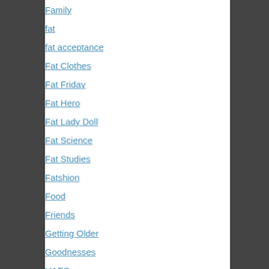Family
fat
fat acceptance
Fat Clothes
Fat Friday
Fat Hero
Fat Lady Doll
Fat Science
Fat Studies
Fatshion
Food
Friends
Getting Older
Goodnesses
HAES
Health